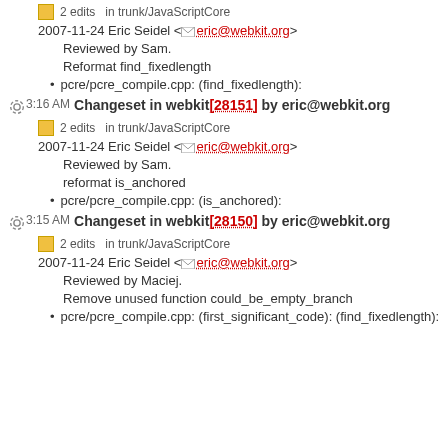2 edits  in trunk/JavaScriptCore
2007-11-24 Eric Seidel <eric@webkit.org>
Reviewed by Sam.
Reformat find_fixedlength
pcre/pcre_compile.cpp: (find_fixedlength):
3:16 AM Changeset in webkit [28151] by eric@webkit.org
2 edits  in trunk/JavaScriptCore
2007-11-24 Eric Seidel <eric@webkit.org>
Reviewed by Sam.
reformat is_anchored
pcre/pcre_compile.cpp: (is_anchored):
3:15 AM Changeset in webkit [28150] by eric@webkit.org
2 edits  in trunk/JavaScriptCore
2007-11-24 Eric Seidel <eric@webkit.org>
Reviewed by Maciej.
Remove unused function could_be_empty_branch
pcre/pcre_compile.cpp: (first_significant_code): (find_fixedlength):